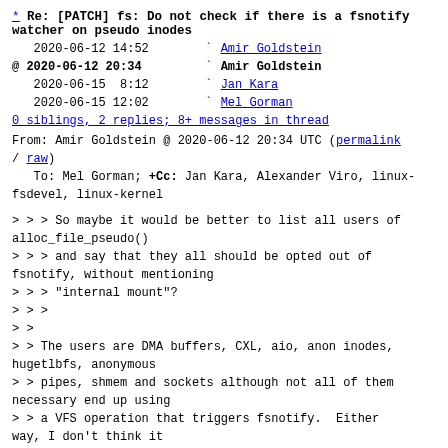* Re: [PATCH] fs: Do not check if there is a fsnotify watcher on pseudo inodes
2020-06-12 14:52  Amir Goldstein
@ 2020-06-12 20:34  Amir Goldstein
2020-06-15  8:12  Jan Kara
2020-06-15 12:02  Mel Gorman
0 siblings, 2 replies; 8+ messages in thread
From: Amir Goldstein @ 2020-06-12 20:34 UTC (permalink / raw)
To: Mel Gorman; +Cc: Jan Kara, Alexander Viro, linux-fsdevel, linux-kernel
> > > So maybe it would be better to list all users of alloc_file_pseudo()
> > > and say that they all should be opted out of fsnotify, without mentioning
> > > "internal mount"?
> > >
> >
> > The users are DMA buffers, CXL, aio, anon inodes, hugetlbfs, anonymous
> > pipes, shmem and sockets although not all of them necessary end up using
> > a VFS operation that triggers fsnotify.  Either way, I don't think it
> > makes sense (or even possible) to watch any of those with fanotify so
> > setting the flag seems reasonable.
> >